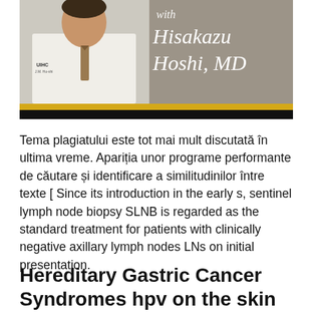[Figure (photo): Banner image showing a doctor in a white lab coat with text overlay reading 'with Hisakazu Hoshi, MD' on a gray background, with a gold bar and black bar beneath.]
Tema plagiatului este tot mai mult discutată în ultima vreme. Apariția unor programe performante de căutare și identificare a similitudinilor între texte [ Since its introduction in the early s, sentinel lymph node biopsy SLNB is regarded as the standard treatment for patients with clinically negative axillary lymph nodes LNs on initial presentation.
Hereditary Gastric Cancer Syndromes hpv on the skin